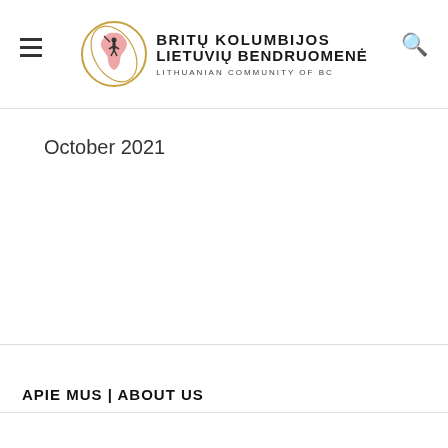BRITŲ KOLUMBIJOS LIETUVIŲ BENDRUOMENĖ LITHUANIAN COMMUNITY OF BC
October 2021
APIE MUS | ABOUT US